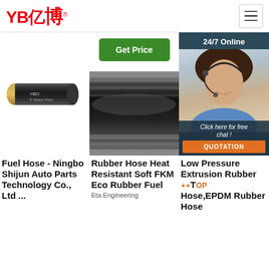[Figure (logo): YB亿博 logo in red with registered trademark symbol and hamburger menu icon]
[Figure (photo): YIBO Steam Hose product photo - black rubber hose with gold braid]
[Figure (photo): Rubber hose close-up photo - black hose with braided ends]
[Figure (photo): Customer service agent photo with 24/7 Online banner and chat/quotation buttons]
Fuel Hose - Ningbo Shijun Auto Parts Technology Co., Ltd ...
Rubber Hose Heat Resistant Soft FKM Eco Rubber Fuel
Eta Engineering
Low Pressure Extrusion Rubber Hose,EPDM Rubber Hose